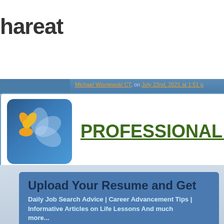hareat
Michael Wisniewski CT, on July 22nd, 2021 at 1:51 p
[Figure (logo): Professional Advice website logo with flower icon on blue rounded square background and green underlined text reading PROFESSIONAL ADVI]
Upload Your Resume and Get
Daily Job Search Advice | Career Advancement Tips | Informative Articles on Life Lessons And much more...
Email Address
Upload Resume   Choose File   No file chosen